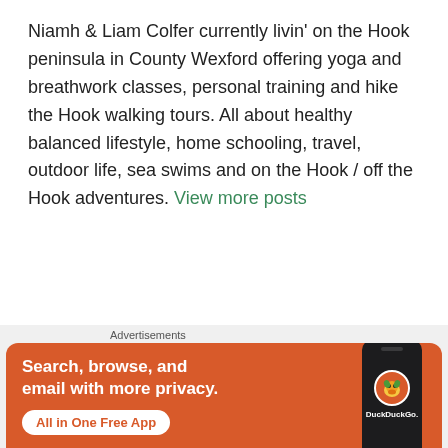Niamh & Liam Colfer currently livin' on the Hook peninsula in County Wexford offering yoga and breathwork classes, personal training and hike the Hook walking tours. All about healthy balanced lifestyle, home schooling, travel, outdoor life, sea swims and on the Hook / off the Hook adventures. View more posts
Previous Post
Livin' on the Hook
[Figure (screenshot): DuckDuckGo advertisement banner with orange background. Text reads: 'Search, browse, and email with more privacy. All in One Free App'. Shows DuckDuckGo logo on a phone graphic.]